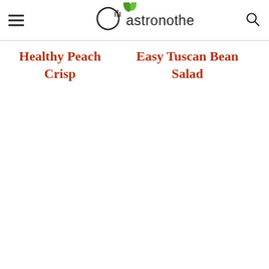Gastronotherapy
Healthy Peach Crisp
Easy Tuscan Bean Salad